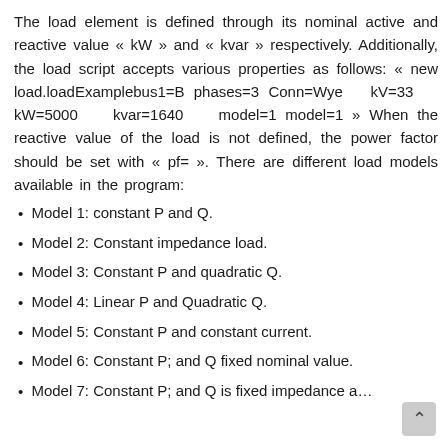The load element is defined through its nominal active and reactive value « kW » and « kvar » respectively. Additionally, the load script accepts various properties as follows: « new load.loadExamplebus1=B phases=3 Conn=Wye kV=33 kW=5000 kvar=1640 model=1 model=1 » When the reactive value of the load is not defined, the power factor should be set with « pf= ». There are different load models available in the program:
Model 1: constant P and Q.
Model 2: Constant impedance load.
Model 3: Constant P and quadratic Q.
Model 4: Linear P and Quadratic Q.
Model 5: Constant P and constant current.
Model 6: Constant P; and Q fixed nominal value.
Model 7: Constant P; and Q is fixed impedance a…